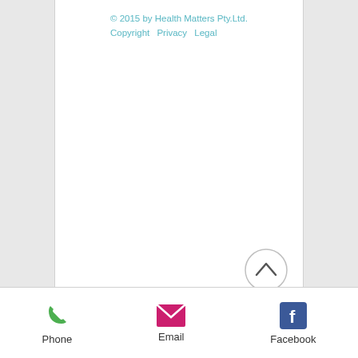© 2015 by Health Matters Pty.Ltd. Copyright   Privacy   Legal
[Figure (other): Scroll-to-top button: circle with upward chevron arrow]
[Figure (other): Phone icon (green handset), Email icon (pink/magenta envelope), Facebook icon (blue square with white f)]
Phone
Email
Facebook